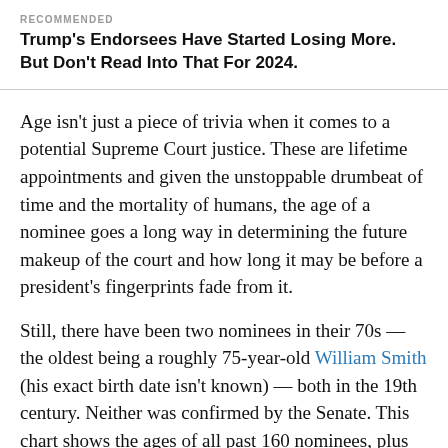RECOMMENDED
Trump's Endorsees Have Started Losing More. But Don't Read Into That For 2024.
Age isn't just a piece of trivia when it comes to a potential Supreme Court justice. These are lifetime appointments and given the unstoppable drumbeat of time and the mortality of humans, the age of a nominee goes a long way in determining the future makeup of the court and how long it may be before a president's fingerprints fade from it.
Still, there have been two nominees in their 70s — the oldest being a roughly 75-year-old William Smith (his exact birth date isn't known) — both in the 19th century. Neither was confirmed by the Senate. This chart shows the ages of all past 160 nominees, plus Garland, and whether their nomination was confirmed. The data comes from the U.S. S…